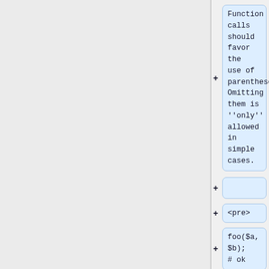Function calls should favor the use of parentheses. Omitting them is ''only'' allowed in simple cases.
<pre>
foo($a, $b);
# ok
foo $a, $b;
# okay, but discouraged